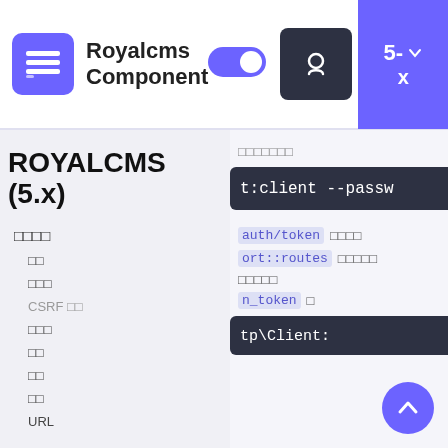Royalcms Component
ROYALCMS (5.x)
설치방법
설정
컨피그
CSRF 토큰
라우터
뷰
뷰
뷰
URL
설치방법 (한국어 텍스트)
[Figure (screenshot): Dark code block showing: t:client --passw]
auth/token 관련텍스트
ort::routes 관련텍스트
관련텍스트
n_token □
[Figure (screenshot): Dark code block showing: tp\Client:]